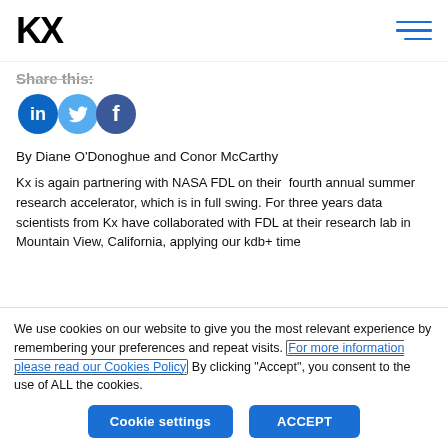KX [logo] [hamburger menu]
Share this:
[Figure (other): Three social media icons: LinkedIn (teal circle with 'in'), Twitter (light blue circle with bird), Facebook (dark blue circle with 'f')]
By Diane O'Donoghue and Conor McCarthy
Kx is again partnering with NASA FDL on their  fourth annual summer research accelerator, which is in full swing. For three years data scientists from Kx have collaborated with FDL at their research lab in Mountain View, California, applying our kdb+ time
We use cookies on our website to give you the most relevant experience by remembering your preferences and repeat visits. For more information please read our Cookies Policy By clicking "Accept", you consent to the use of ALL the cookies.
Cookie settings | ACCEPT